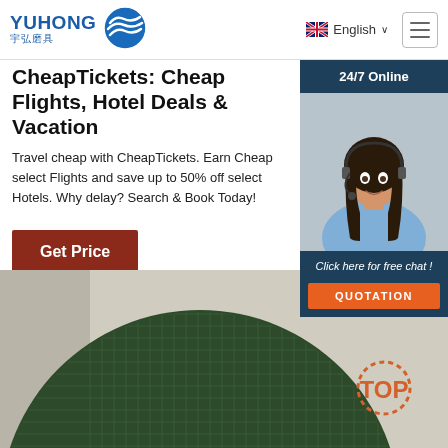[Figure (logo): YUHONG 宇弘磨具 logo with blue wave/globe icon]
English ∨
CheapTickets: Cheap Flights, Hotel Deals & Vacation
Travel cheap with CheapTickets. Earn Cheap select Flights and save up to 50% off select Hotels. Why delay? Search & Book Today!
Get Price
[Figure (infographic): Ad overlay: 24/7 Online chat widget with woman in headset, Click here for free chat!, QUOTATION button]
[Figure (photo): Close-up of dark green textured circular grinding/polishing pad with grid pattern, with TOP watermark badge]